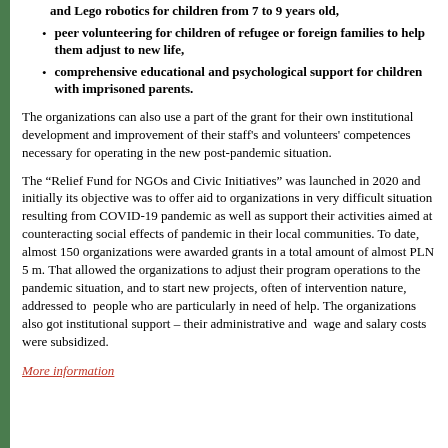and Lego robotics for children from 7 to 9 years old,
peer volunteering for children of refugee or foreign families to help them adjust to new life,
comprehensive educational and psychological support for children with imprisoned parents.
The organizations can also use a part of the grant for their own institutional development and improvement of their staff's and volunteers' competences necessary for operating in the new post-pandemic situation.
The “Relief Fund for NGOs and Civic Initiatives” was launched in 2020 and initially its objective was to offer aid to organizations in very difficult situation resulting from COVID-19 pandemic as well as support their activities aimed at counteracting social effects of pandemic in their local communities. To date, almost 150 organizations were awarded grants in a total amount of almost PLN 5 m. That allowed the organizations to adjust their program operations to the pandemic situation, and to start new projects, often of intervention nature, addressed to people who are particularly in need of help. The organizations also got institutional support – their administrative and wage and salary costs were subsidized.
More information